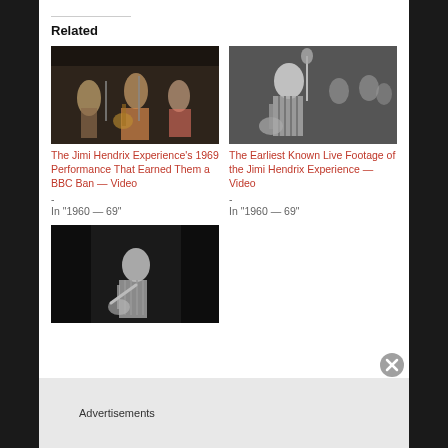Related
[Figure (photo): The Jimi Hendrix Experience performing on stage, color photo, 1969]
The Jimi Hendrix Experience's 1969 Performance That Earned Them a BBC Ban — Video
-
In "1960 — 69"
[Figure (photo): Black and white photo of Jimi Hendrix playing guitar at an early live performance]
The Earliest Known Live Footage of the Jimi Hendrix Experience — Video
-
In "1960 — 69"
[Figure (photo): Black and white photo of a guitarist performing on stage]
Advertisements